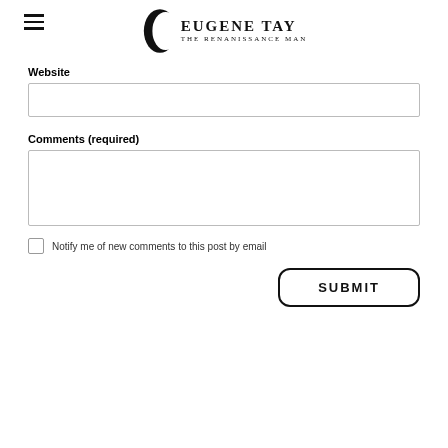EUGENE TAY THE RENANISSANCE MAN
Website
Comments (required)
Notify me of new comments to this post by email
SUBMIT